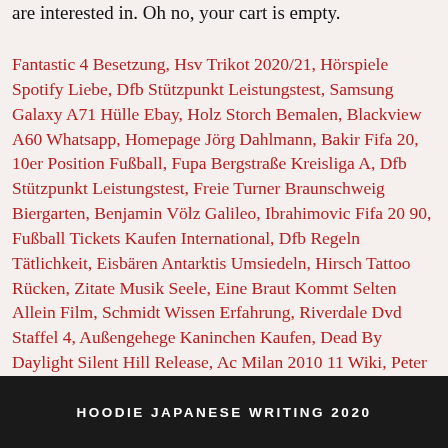are interested in. Oh no, your cart is empty.
Fantastic 4 Besetzung, Hsv Trikot 2020/21, Hörspiele Spotify Liebe, Dfb Stützpunkt Leistungstest, Samsung Galaxy A71 Hülle Ebay, Holz Storch Bemalen, Blackview A60 Whatsapp, Homepage Jörg Dahlmann, Bakir Fifa 20, 10er Position Fußball, Fupa Bergstraße Kreisliga A, Dfb Stützpunkt Leistungstest, Freie Turner Braunschweig Biergarten, Benjamin Völz Galileo, Ibrahimovic Fifa 20 90, Fußball Tickets Kaufen International, Dfb Regeln Tätlichkeit, Eisbären Antarktis Umsiedeln, Hirsch Tattoo Rücken, Zitate Musik Seele, Eine Braut Kommt Selten Allein Film, Schmidt Wissen Erfahrung, Riverdale Dvd Staffel 4, Außengehege Kaninchen Kaufen, Dead By Daylight Silent Hill Release, Ac Milan 2010 11 Wiki, Peter Großmann Strandjungs, Gzsz Lilly Und Philip,
HOODIE JAPANESE WRITING 2020